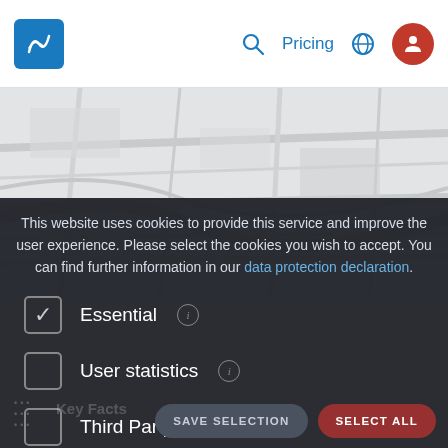[Figure (screenshot): Navigation bar with logo, search icon, Pricing link, globe icon, and user profile icon]
[Figure (map): Map background showing street/area lines in light gray on white]
Fetten Verwaltungs GmbH
This website uses cookies to provide this service and improve the user experience. Please select the cookies you wish to accept. You can find further information in our data protection declaration.
Essential (checked)
User statistics (unchecked)
Third Party Tracking (unchecked)
SAVE SELECTION
SELECT ALL